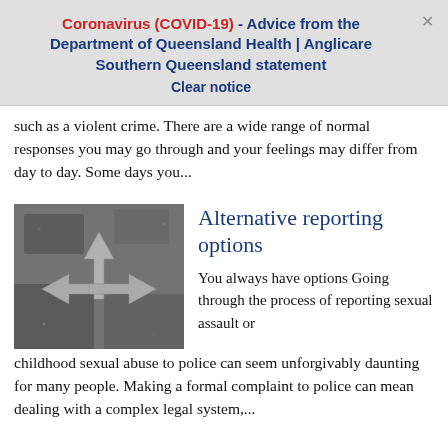Coronavirus (COVID-19) - Advice from the Department of Queensland Health | Anglicare Southern Queensland statement
Clear notice
such as a violent crime. There are a wide range of normal responses you may go through and your feelings may differ from day to day. Some days you...
[Figure (photo): Black and white photograph of directional arrows painted on a road surface, pointing in multiple directions (up, left, right).]
Alternative reporting options
You always have options Going through the process of reporting sexual assault or childhood sexual abuse to police can seem unforgivably daunting for many people. Making a formal complaint to police can mean dealing with a complex legal system,...